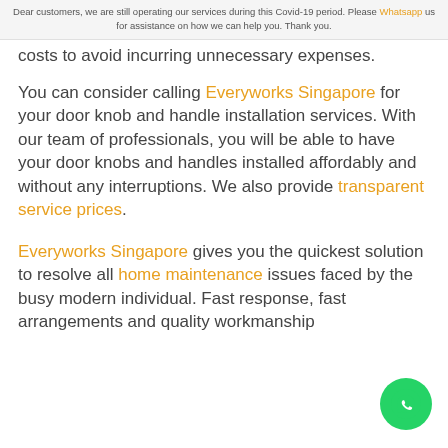Dear customers, we are still operating our services during this Covid-19 period. Please Whatsapp us for assistance on how we can help you. Thank you.
costs to avoid incurring unnecessary expenses.
You can consider calling Everyworks Singapore for your door knob and handle installation services. With our team of professionals, you will be able to have your door knobs and handles installed affordably and without any interruptions. We also provide transparent service prices.
Everyworks Singapore gives you the quickest solution to resolve all home maintenance issues faced by the busy modern individual. Fast response, fast arrangements and quality workmanship